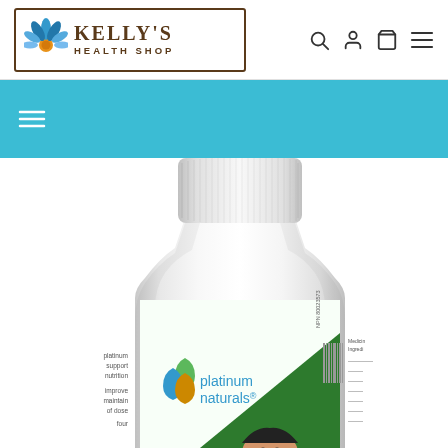[Figure (logo): Kelly's Health Shop logo with lotus flower icon, bordered box with brown serif text KELLY'S and HEALTH SHOP]
[Figure (screenshot): Website navigation header with search, user account, cart, and hamburger menu icons]
[Figure (photo): Platinum Naturals supplement bottle (white, large, partially cropped) showing the Platinum Naturals logo with green and blue drop shapes, label text visible on bottle side]